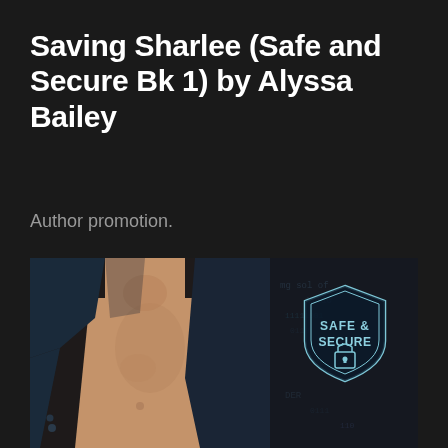Saving Sharlee (Safe and Secure Bk 1) by Alyssa Bailey
Author promotion.
[Figure (photo): Book cover photo showing a man's shirtless torso wearing an open dark blue shirt, with a shield badge reading 'SAFE & SECURE' with a lock icon on the right side, and blurred digital/tech background elements.]